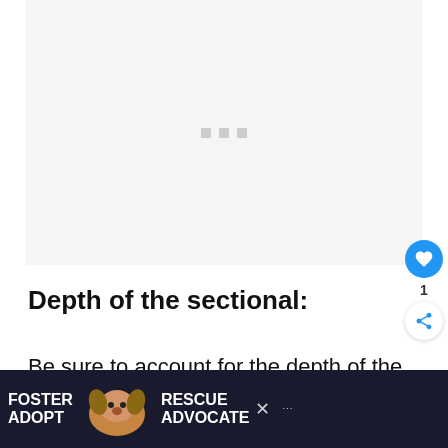[Figure (other): Loading placeholder area with three small gray squares indicating an image or content is loading]
Depth of the sectional:
Be sure to account for the depth of the
placed. Note: this also shows...that
[Figure (other): Advertisement banner: FOSTER ADOPT with dog photo, RESCUE ADVOCATE text with close button]